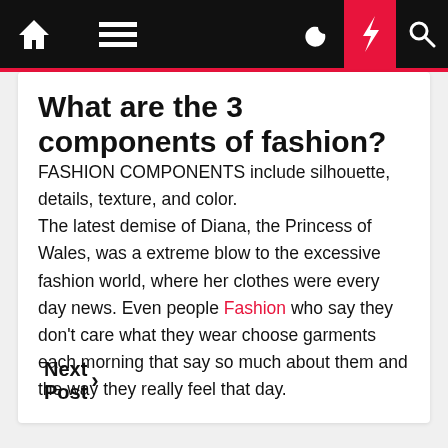Navigation bar with home, menu, moon, bolt, and search icons
What are the 3 components of fashion?
FASHION COMPONENTS include silhouette, details, texture, and color.
The latest demise of Diana, the Princess of Wales, was a extreme blow to the excessive fashion world, where her clothes were every day news. Even people Fashion who say they don't care what they wear choose garments each morning that say so much about them and the way they really feel that day.
Next Post >